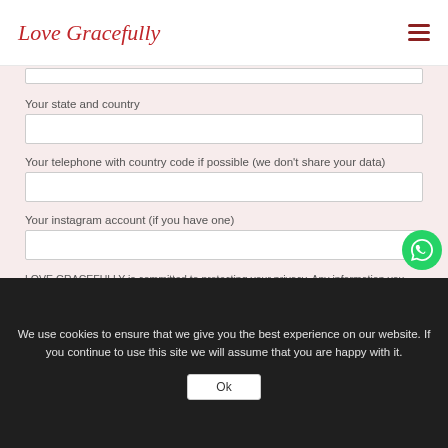Love Gracefully
Your state and country
Your telephone with country code if possible (we don't share your data)
Your instagram account (if you have one)
LOVE GRACEFULLY is committed to protecting your privacy. Any information you choose to share with us will always remain strictly
We use cookies to ensure that we give you the best experience on our website. If you continue to use this site we will assume that you are happy with it.